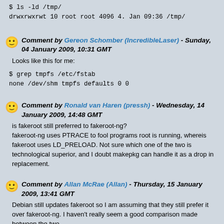$ ls -ld /tmp/
drwxrwxrwt 10 root root 4096 4. Jan 09:36 /tmp/
Comment by Gereon Schomber (IncredibleLaser) - Sunday, 04 January 2009, 10:31 GMT
Looks like this for me:
$ grep tmpfs /etc/fstab
none /dev/shm tmpfs defaults 0 0
Comment by Ronald van Haren (pressh) - Wednesday, 14 January 2009, 14:48 GMT
is fakeroot still preferred to fakeroot-ng?
fakeroot-ng uses PTRACE to fool programs root is running, whereis fakeroot uses LD_PRELOAD. Not sure which one of the two is technological superior, and I doubt makepkg can handle it as a drop in replacement.
Comment by Allan McRae (Allan) - Thursday, 15 January 2009, 13:41 GMT
Debian still updates fakeroot so I am assuming that they still prefer it over fakeroot-ng. I haven't really seem a good comparison made between the two.
This bug probably has to wait for pacman-3.3 to be release. Them makepkg will separate the building and packaging stages of package building and only use fakeroot for packaging.